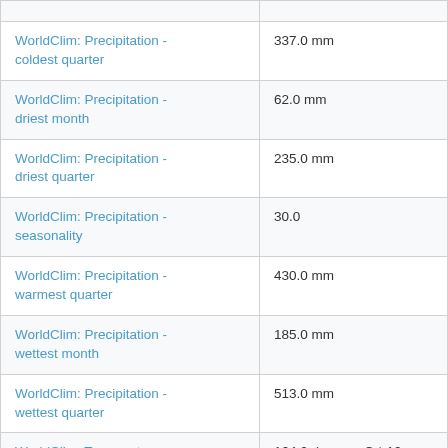| Variable | Value |
| --- | --- |
| WorldClim: Precipitation - coldest quarter | 337.0 mm |
| WorldClim: Precipitation - driest month | 62.0 mm |
| WorldClim: Precipitation - driest quarter | 235.0 mm |
| WorldClim: Precipitation - seasonality | 30.0 |
| WorldClim: Precipitation - warmest quarter | 430.0 mm |
| WorldClim: Precipitation - wettest month | 185.0 mm |
| WorldClim: Precipitation - wettest quarter | 513.0 mm |
| WorldClim: Temperature - annual mean | 164.0 degrees C * 10 |
| WorldClim: Temperature - | 202.0 degrees C * 10 |